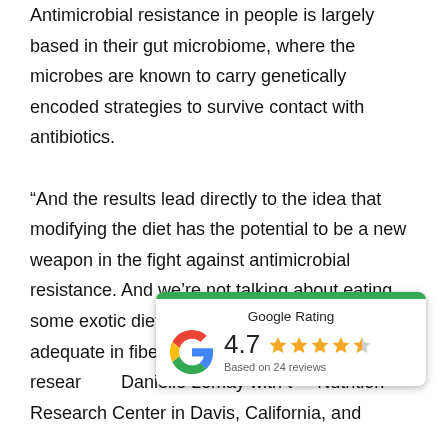Antimicrobial resistance in people is largely based in their gut microbiome, where the microbes are known to carry genetically encoded strategies to survive contact with antibiotics.

“And the results lead directly to the idea that modifying the diet has the potential to be a new weapon in the fight against antimicrobial resistance. And we’re not talking about eating some exotic diet either, but a diverse diet, adequate in fiber, tha… eat,” explained resear… Danielle Lemay with t… Nutrition Research Center in Davis, California, and
[Figure (other): Google Rating widget showing 4.7 stars based on 24 reviews, with Google logo and green top bar]